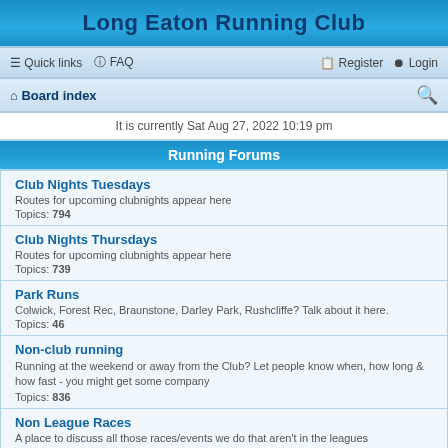Long Eaton Running Club
Quick links  FAQ  Register  Login
Board index
It is currently Sat Aug 27, 2022 10:19 pm
Running Forums
Club Nights Tuesdays
Routes for upcoming clubnights appear here
Topics: 794
Club Nights Thursdays
Routes for upcoming clubnights appear here
Topics: 739
Park Runs
Colwick, Forest Rec, Braunstone, Darley Park, Rushcliffe? Talk about it here.
Topics: 46
Non-club running
Running at the weekend or away from the Club? Let people know when, how long & how fast - you might get some company
Topics: 836
Non League Races
A place to discuss all those races/events we do that aren't in the leagues
Topics: 849
Fell and Off Road
Like it hilly? Discuss your affliction in here.
Topics: 670